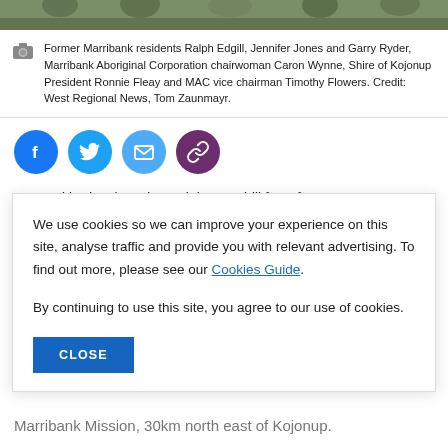[Figure (photo): Top strip showing partial view of people's legs and grass background]
Former Marribank residents Ralph Edgill, Jennifer Jones and Garry Ryder, Marribank Aboriginal Corporation chairwoman Caron Wynne, Shire of Kojonup President Ronnie Fleay and MAC vice chairman Timothy Flowers. Credit: West Regional News, Tom Zaunmayr.
[Figure (infographic): Social media share buttons: Facebook, Twitter, Email, Link]
We use cookies so we can improve your experience on this site, analyse traffic and provide you with relevant advertising. To find out more, please see our Cookies Guide.

By continuing to use this site, you agree to our use of cookies.
Marribank Mission, 30km north east of Kojonup.